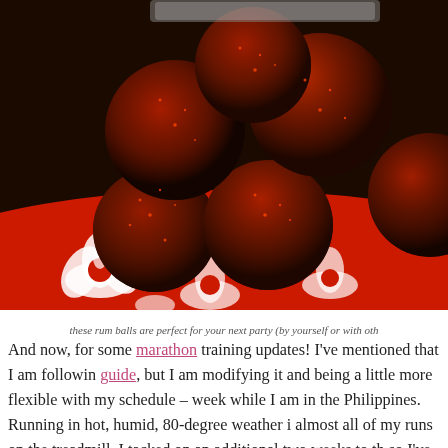[Figure (photo): Red-coated rum balls piled on a red and white decorative plate on a dark wooden surface]
these rum balls are perfect for your next party (by yourself or with oth
And now, for some marathon training updates! I've mentioned that I am followin guide, but I am modifying it and being a little more flexible with my schedule – week while I am in the Philippines. Running in hot, humid, 80-degree weather i almost all of my runs on the treadmill. I tacked on an additional two weeks to th so I've actually been training for about a month now since I started the week rig